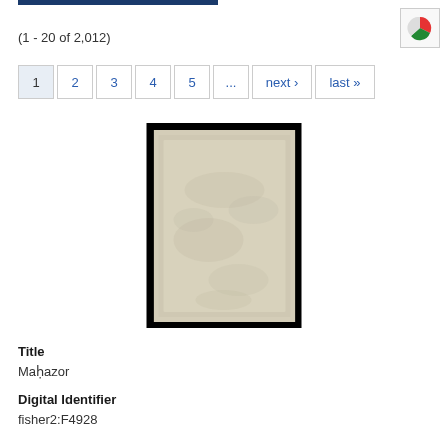(1 - 20 of 2,012)
[Figure (other): Pagination bar with page buttons: 1 (active), 2, 3, 4, 5, ..., next›, last»]
[Figure (photo): Thumbnail of an old manuscript or document page with aged, yellowed paper on a black background]
Title
Maḥazor
Digital Identifier
fisher2:F4928